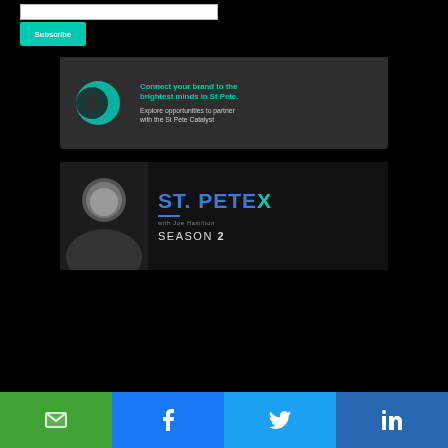[Figure (screenshot): White email input bar at top]
[Figure (screenshot): Teal Subscribe button below email bar]
[Figure (infographic): Advertisement banner: Connect your brand to the brightest minds in St Pete. Explore opportunities to partner with the St Pete Catalyst. Dark grey background with teal logo.]
[Figure (infographic): St. Pete X podcast Season 2 banner with host photo and teal/blue branding on dark background.]
[Figure (infographic): Social share bar with four buttons: email (green), Facebook (blue), Twitter (light blue), LinkedIn (dark blue)]